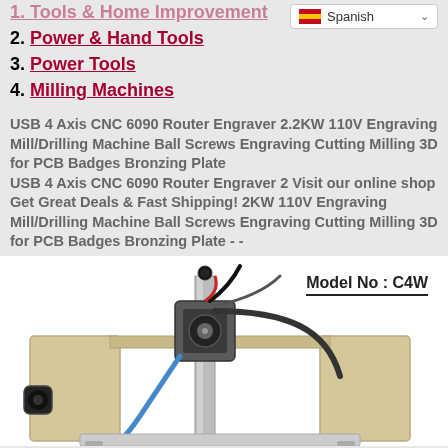2. Power & Hand Tools
3. Power Tools
4. Milling Machines
USB 4 Axis CNC 6090 Router Engraver 2.2KW 110V Engraving Mill/Drilling Machine Ball Screws Engraving Cutting Milling 3D for PCB Badges Bronzing Plate
USB 4 Axis CNC 6090 Router Engraver 2 Visit our online shop Get Great Deals & Fast Shipping! 2KW 110V Engraving Mill/Drilling Machine Ball Screws Engraving Cutting Milling 3D for PCB Badges Bronzing Plate - -
[Figure (photo): CNC router engraver machine, beige/tan colored body with metal components and spindle. Text overlay reads 'Model No : C4W']